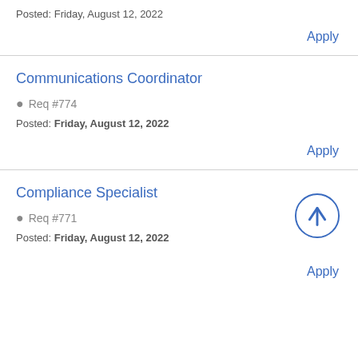Posted: Friday, August 12, 2022
Apply
Communications Coordinator
Req #774
Posted: Friday, August 12, 2022
Apply
Compliance Specialist
Req #771
Posted: Friday, August 12, 2022
Apply